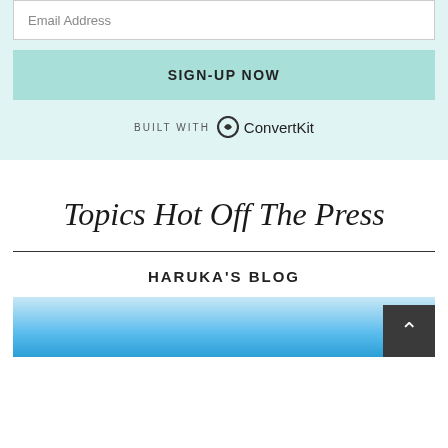Email Address
SIGN-UP NOW
BUILT WITH ConvertKit
Topics Hot Off The Press
HARUKA'S BLOG
[Figure (photo): Blue sky/water background image at the bottom of the page, partially visible]